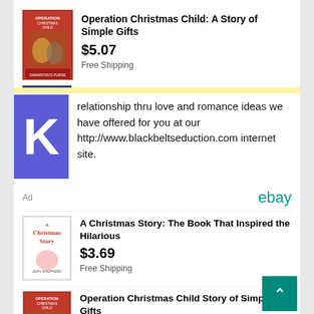[Figure (screenshot): Book cover for 'Operation Christmas Child: A Story of Simple Gifts' - red cover with illustrated characters]
Operation Christmas Child: A Story of Simple Gifts
$5.07
Free Shipping
relationship thru love and romance ideas we have offered for you at our http://www.blackbeltseduction.com internet site.
Ad
ebay
[Figure (screenshot): Book cover for 'A Christmas Story: The Book That Inspired the Hilarious' - white cover with red title text and illustration]
A Christmas Story: The Book That Inspired the Hilarious
$3.69
Free Shipping
[Figure (screenshot): Book cover for 'Operation Christmas Child: A Story of Simple Gifts' - red cover]
Operation Christmas Child Story of Simple Gifts
$5.07